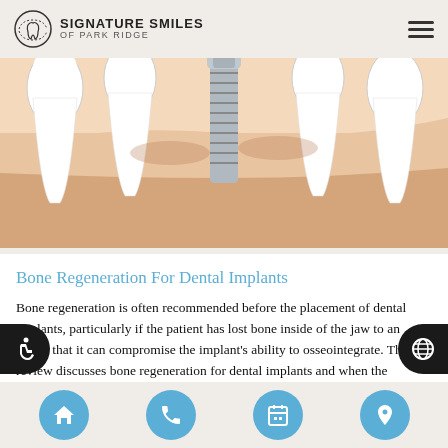SIGNATURE SMILES OF PARK RIDGE
[Figure (illustration): Medical illustration showing a cross-section of dental implant placement in the jaw with surrounding teeth and gum tissue. A metallic screw implant is shown inserted into the jawbone, with white teeth on either side and pink gum/bone tissue.]
Bone Regeneration For Dental Implants
Bone regeneration is often recommended before the placement of dental implants, particularly if the patient has lost bone inside of the jaw to an extent that it can compromise the implant’s ability to osseointegrate. This review discusses bone regeneration for dental implants and when the procedure is (and is not) required. Bone